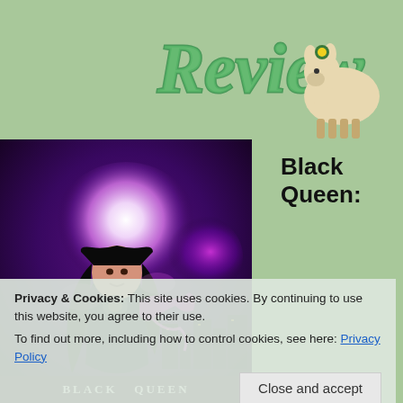[Figure (logo): Green cursive 'Review' text logo with a llama/sheep character wearing a flower on its head, on a sage green background]
[Figure (illustration): Book cover for 'Black Queen' showing a dark-haired woman in black outfit with glowing purple magical energy, standing before a large pink/purple moon with a city skyline in background]
Black Queen:
Privacy & Cookies: This site uses cookies. By continuing to use this website, you agree to their use.
To find out more, including how to control cookies, see here: Privacy Policy
Close and accept